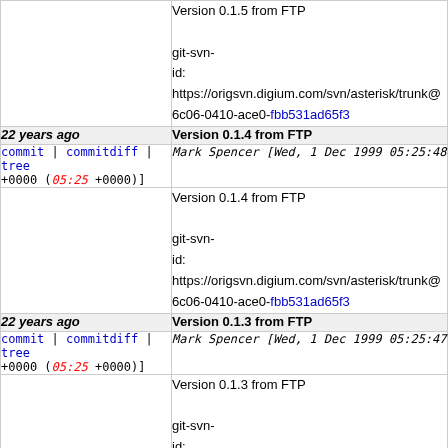Version 0.1.5 from FTP
git-svn-id: https://origsvn.digium.com/svn/asterisk/trunk@6c06-0410-ace0-fbb531ad65f3
22 years ago | Version 0.1.4 from FTP
commit | commitdiff | tree Mark Spencer [Wed, 1 Dec 1999 05:25:48 +0000 (05:25 +0000)]
Version 0.1.4 from FTP
git-svn-id: https://origsvn.digium.com/svn/asterisk/trunk@6c06-0410-ace0-fbb531ad65f3
22 years ago | Version 0.1.3 from FTP
commit | commitdiff | tree Mark Spencer [Wed, 1 Dec 1999 05:25:47 +0000 (05:25 +0000)]
Version 0.1.3 from FTP
git-svn-id: https://origsvn.digium.com/svn/asterisk/trunk@6c06-0410-ace0-fbb531ad65f3